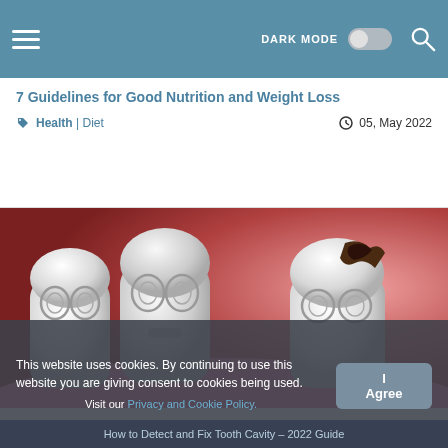DARK MODE [toggle] [search]
7 Guidelines for Good Nutrition and Weight Loss
Health | Diet   05, May 2022
[Figure (illustration): 3D cartoon illustration of animated teeth characters, one tooth on the right has a dark cavity/decay, others look worried]
This website uses cookies. By continuing to use this website you are giving consent to cookies being used. Visit our Privacy and Cookie Policy.
How to Detect and Fix Tooth Cavity – 2022 Guide